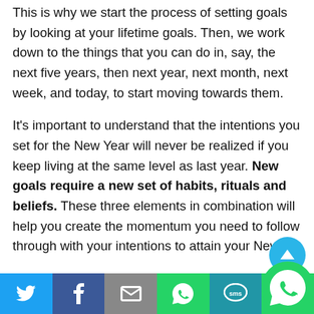This is why we start the process of setting goals by looking at your lifetime goals. Then, we work down to the things that you can do in, say, the next five years, then next year, next month, next week, and today, to start moving towards them.
It's important to understand that the intentions you set for the New Year will never be realized if you keep living at the same level as last year. New goals require a new set of habits, rituals and beliefs. These three elements in combination will help you create the momentum you need to follow through with your intentions to attain your New